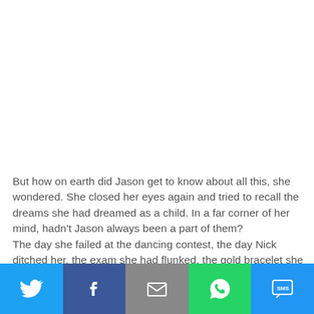But how on earth did Jason get to know about all this, she wondered. She closed her eyes again and tried to recall the dreams she had dreamed as a child. In a far corner of her mind, hadn't Jason always been a part of them?
The day she failed at the dancing contest, the day Nick ditched her, the exam she had flunked, the gold bracelet she couldn't afford, Jason had been with her all along. She had just not taken notice of him then. He had stayed in the background, collecting bits of her dreams, to present them
[Figure (infographic): Social share bar with five buttons: Twitter (blue bird icon), Facebook (dark blue f icon), Email (grey envelope icon), WhatsApp (green chat bubble icon), SMS (light blue SMS speech bubble icon)]